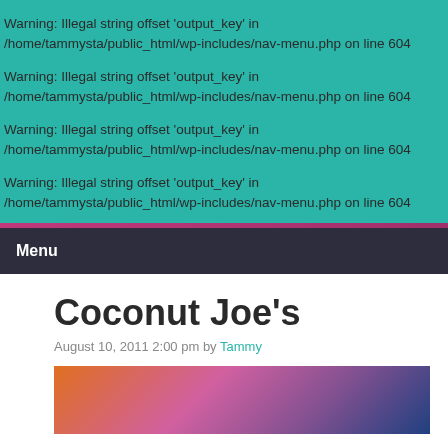Warning: Illegal string offset 'output_key' in /home/tammysta/public_html/wp-includes/nav-menu.php on line 604
Warning: Illegal string offset 'output_key' in /home/tammysta/public_html/wp-includes/nav-menu.php on line 604
Warning: Illegal string offset 'output_key' in /home/tammysta/public_html/wp-includes/nav-menu.php on line 604
Warning: Illegal string offset 'output_key' in /home/tammysta/public_html/wp-includes/nav-menu.php on line 604
Menu
Coconut Joe's
August 10, 2011 2:00 pm by Tammy
[Figure (photo): Partial view of a colorful photo strip at bottom of page]